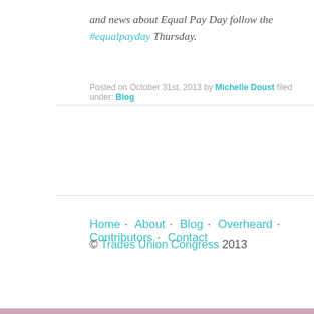and news about Equal Pay Day follow the #equalpayday Thursday.
Posted on October 31st, 2013 by Michelle Doust filed under: Blog
Home   About   Blog   Overheard   Contributors   Contact   © Trades Union Congress 2013